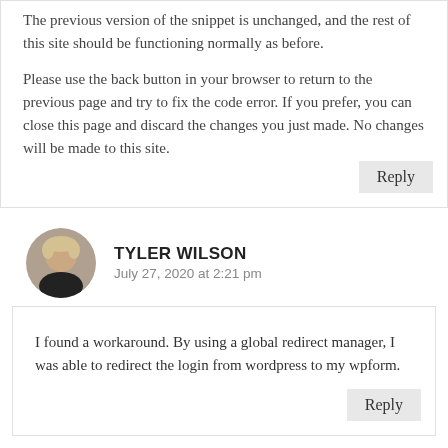The previous version of the snippet is unchanged, and the rest of this site should be functioning normally as before.
Please use the back button in your browser to return to the previous page and try to fix the code error. If you prefer, you can close this page and discard the changes you just made. No changes will be made to this site.
Reply
TYLER WILSON
July 27, 2020 at 2:21 pm
I found a workaround. By using a global redirect manager, I was able to redirect the login from wordpress to my wpform.
Reply
ABHISHEK
July 31, 2020 at 3:44 pm